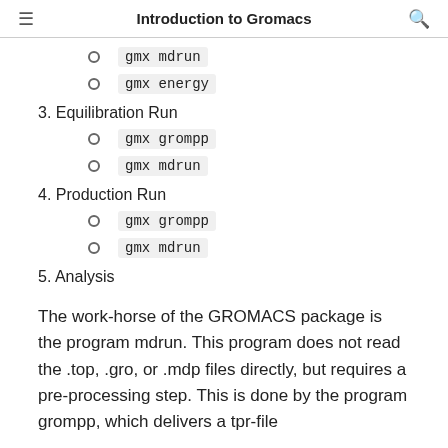Introduction to Gromacs
gmx mdrun
gmx energy
3. Equilibration Run
gmx grompp
gmx mdrun
4. Production Run
gmx grompp
gmx mdrun
5. Analysis
The work-horse of the GROMACS package is the program mdrun. This program does not read the .top, .gro, or .mdp files directly, but requires a pre-processing step. This is done by the program grompp, which delivers a tpr-file